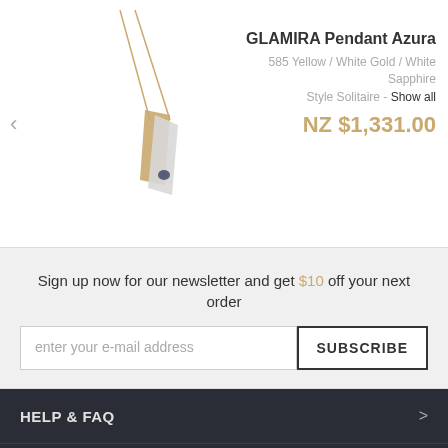[Figure (photo): GLAMIRA Pendant Azura jewelry photo showing a gold and white gold pendant with white sapphire on a chain]
GLAMIRA Pendant Azura
585 Yellow / White Gold / White Sapphire
Style Solitaire - Show all
NZ $1,331.00
Sign up now for our newsletter and get $10 off your next order
enter your e-mail address
SUBSCRIBE
HELP & FAQ
OUR POLICIES & LEGAL
OUR SERVICES
ABOUT GLAMIRA